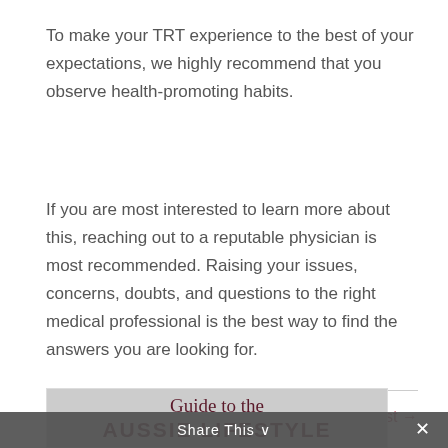To make your TRT experience to the best of your expectations, we highly recommend that you observe health-promoting habits.
If you are most interested to learn more about this, reaching out to a reputable physician is most recommended. Raising your issues, concerns, doubts, and questions to the right medical professional is the best way to find the answers you are looking for.
← Previous Post
Next Post →
[Figure (screenshot): Blog image preview showing 'www.thecrazyaustralian.com' URL and 'The Crazy Australian Life Blog' logo, with 'Guide to the AUSSIE LIFESTYLE' text overlaid on a gray background.]
Share This ∨
✕